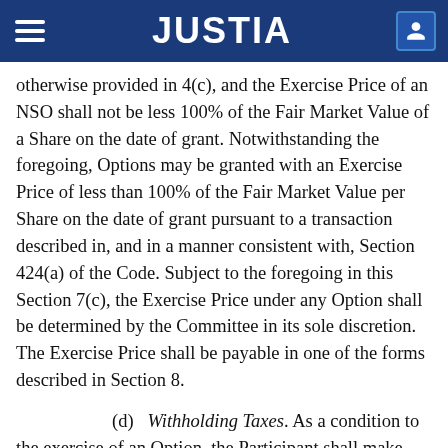JUSTIA
otherwise provided in 4(c), and the Exercise Price of an NSO shall not be less 100% of the Fair Market Value of a Share on the date of grant. Notwithstanding the foregoing, Options may be granted with an Exercise Price of less than 100% of the Fair Market Value per Share on the date of grant pursuant to a transaction described in, and in a manner consistent with, Section 424(a) of the Code. Subject to the foregoing in this Section 7(c), the Exercise Price under any Option shall be determined by the Committee in its sole discretion. The Exercise Price shall be payable in one of the forms described in Section 8.
(d) Withholding Taxes. As a condition to the exercise of an Option, the Participant shall make such arrangements as the Committee may require for the satisfaction of any federal, state, local or foreign